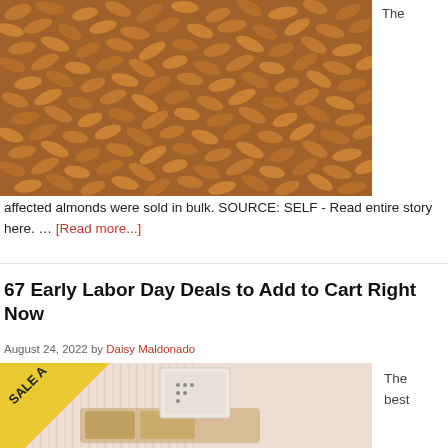[Figure (photo): Close-up photograph of many brown almonds piled together]
The
affected almonds were sold in bulk. SOURCE: SELF - Read entire story here. … [Read more...]
67 Early Labor Day Deals to Add to Cart Right Now
August 24, 2022 by Daisy Maldonado
[Figure (photo): Bedroom scene with a 'SALE' banner in the corner, showing a bed with yellow pillows against a ridged wall]
The best